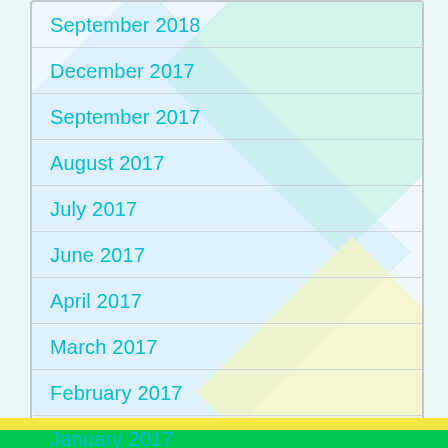September 2018
December 2017
September 2017
August 2017
July 2017
June 2017
April 2017
March 2017
February 2017
January 2017
December 2016
November 2016
October 2016